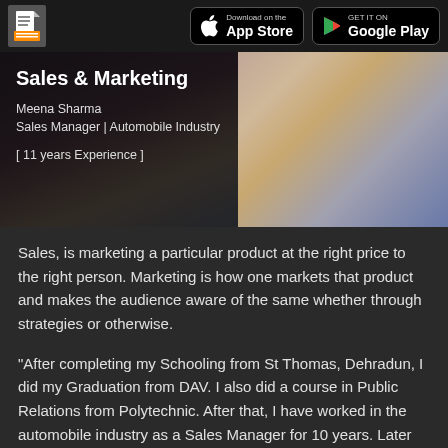Sales & Marketing — App Store / Google Play header bar
[Figure (photo): Hero image showing a handshake with overlay text: Sales & Marketing, Meena Sharma, Sales Manager | Automobile Industry, [ 11 years Experience ]]
Sales, is marketing a particular product at the right price to the right person. Marketing is how one markets that product and makes the audience aware of the same whether through strategies or otherwise.
"After completing my Schooling from St Thomas, Dehradun, I did my Graduation from DAV. I also did a course in Public Relations from Polytechnic. After that, I have worked in the automobile industry as a Sales Manager for 10 years. Later on, I joined Looks Unisex Salon as a Manager. In 2016, I started my own salon called